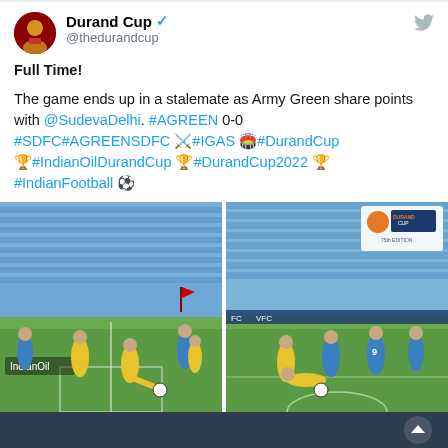Durand Cup @thedurandcup
Full Time!

The game ends up in a stalemate as Army Green share points with @SudevaDelhi. #AGREEN 0-0 #SDFC#AGREENSDFC ⚔️ #IGAS 🏟️ #DurandCup 🏆 #IndianOilDurandCup 🏆 #DurandCup2022 🏆 #IndianFootball ⚽
[Figure (photo): Two side-by-side football match photos from Durand Cup 2022: left shows yellow-kitted players competing with blue-kitted players on green pitch with blue stadium seats; right shows similar action with player wearing #9 jersey, Durand Cup logo visible top right.]